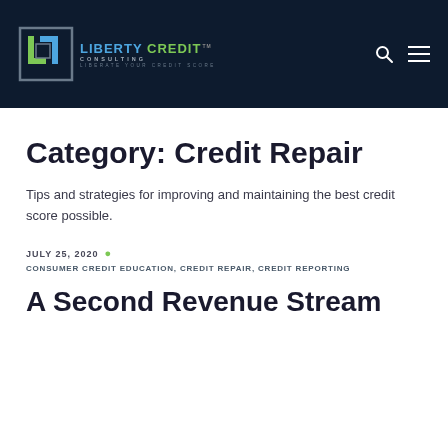Liberty Credit Consulting — Liberate Your Credit Score
Category: Credit Repair
Tips and strategies for improving and maintaining the best credit score possible.
JULY 25, 2020 · CONSUMER CREDIT EDUCATION, CREDIT REPAIR, CREDIT REPORTING
A Second Revenue Stream